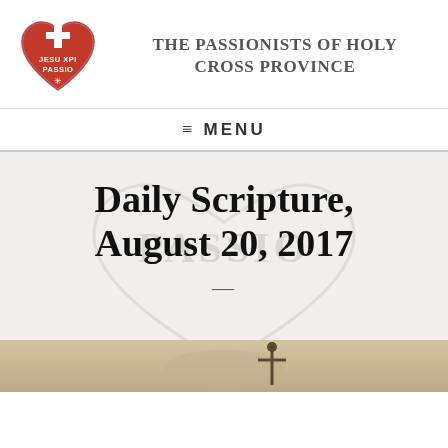[Figure (logo): Passionists of Holy Cross Province logo: red heart with cross and text JESU XPI PASSIO]
THE PASSIONISTS OF HOLY CROSS PROVINCE
MENU
Daily Scripture, August 20, 2017
[Figure (photo): Partial photo of a person with a cross, visible at the bottom of the page]